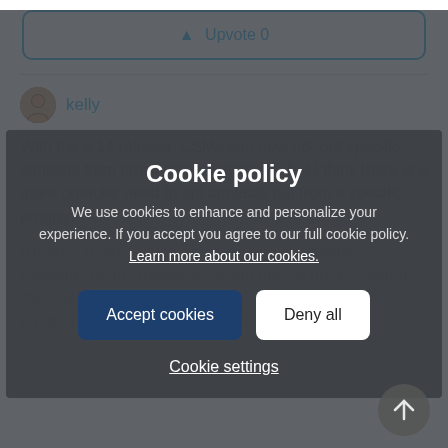[Figure (other): Upvote button with 0 votes, styled with cyan border]
[Figure (other): User avatar image (kelly)]
kelly
With the 6.14 release, CSMs can now opt-out specific contacts from email communications, but I think there is a more granular need to opt contacts out from a specific program.
If there's a multi-touch program, and a customer responds to any message saying they're not interested, the CSM should be able to opt them out of the entire program or opt out from all communications too.
Cookie policy
We use cookies to enhance and personalize your experience. If you accept you agree to our full cookie policy. Learn more about our cookies.
Accept cookies
Deny all
Cookie settings